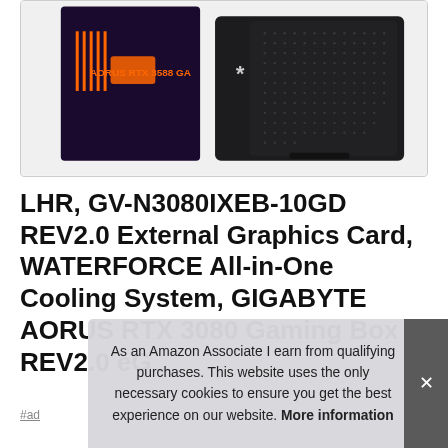[Figure (photo): Product photo showing AORUS RTX 3080 Gaming Box - a dark cube-shaped eGPU enclosure with RGB lighting at the base, alongside an AORUS RTX 3080 graphics card box with orange and purple packaging]
LHR, GV-N3080IXEB-10GD REV2.0 External Graphics Card, WATERFORCE All-in-One Cooling System, GIGABYTE AORUS RTX 3080 Gaming Box REV2.0 eG
#ad
As an Amazon Associate I earn from qualifying purchases. This website uses the only necessary cookies to ensure you get the best experience on our website. More information